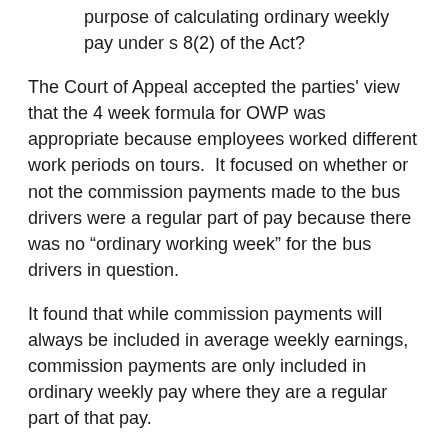purpose of calculating ordinary weekly pay under s 8(2) of the Act?
The Court of Appeal accepted the parties' view that the 4 week formula for OWP was appropriate because employees worked different work periods on tours.  It focused on whether or not the commission payments made to the bus drivers were a regular part of pay because there was no “ordinary working week” for the bus drivers in question.
It found that while commission payments will always be included in average weekly earnings, commission payments are only included in ordinary weekly pay where they are a regular part of that pay.
To guide its interpretation of “regular” it turned to